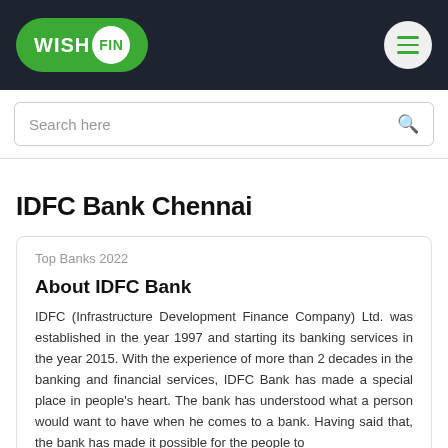WISH FIN
Search here
IDFC Bank Chennai
Top Banks 2022
About IDFC Bank
IDFC (Infrastructure Development Finance Company) Ltd. was established in the year 1997 and starting its banking services in the year 2015. With the experience of more than 2 decades in the banking and financial services, IDFC Bank has made a special place in people's heart. The bank has understood what a person would want to have when he comes to a bank. Having said that, the bank has made it possible for the people to